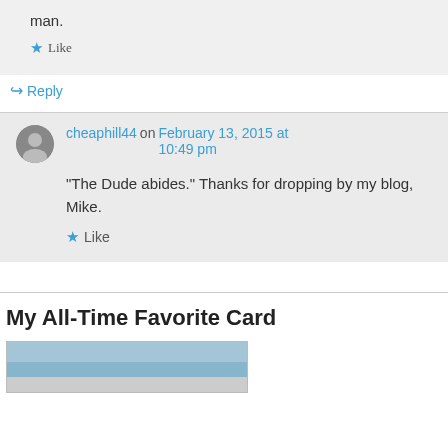man.
Like
Reply
cheaphill44 on February 13, 2015 at 10:49 pm
“The Dude abides.” Thanks for dropping by my blog, Mike.
Like
My All-Time Favorite Card